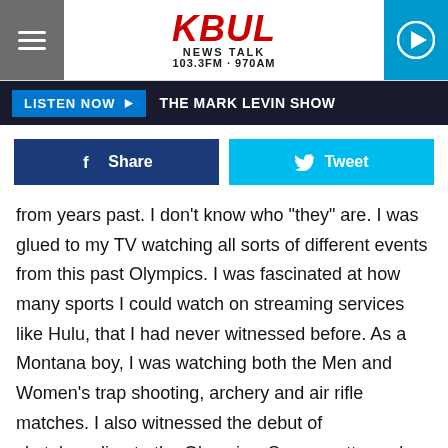KBUL NEWS TALK 103.3FM · 970AM
LISTEN NOW ▶  THE MARK LEVIN SHOW
Share   Tweet
from years past. I don't know who "they" are. I was glued to my TV watching all sorts of different events from this past Olympics. I was fascinated at how many sports I could watch on streaming services like Hulu, that I had never witnessed before. As a Montana boy, I was watching both the Men and Women's trap shooting, archery and air rifle matches. I also witnessed the debut of skateboarding to the Olympics. Some pretty cool events went down in Japan. But, when it comes to really engulfing yourself into the Olympics, its a "you had to be there" kind of experience.